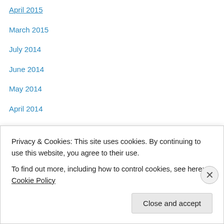April 2015
March 2015
July 2014
June 2014
May 2014
April 2014
March 2014
February 2014
January 2014
November 2013
October 2013
September 2013
August 2013
July 2013
Privacy & Cookies: This site uses cookies. By continuing to use this website, you agree to their use.
To find out more, including how to control cookies, see here: Cookie Policy